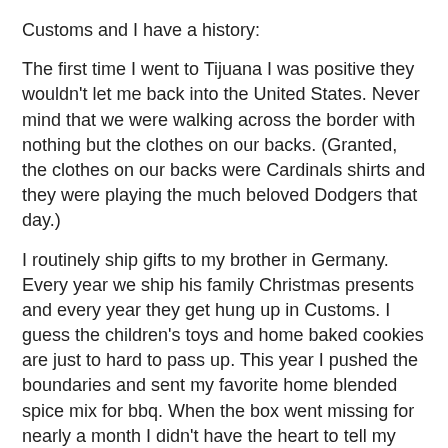Customs and I have a history:
The first time I went to Tijuana I was positive they wouldn't let me back into the United States. Never mind that we were walking across the border with nothing but the clothes on our backs. (Granted, the clothes on our backs were Cardinals shirts and they were playing the much beloved Dodgers that day.)
I routinely ship gifts to my brother in Germany. Every year we ship his family Christmas presents and every year they get hung up in Customs. I guess the children's toys and home baked cookies are just to hard to pass up. This year I pushed the boundaries and sent my favorite home blended spice mix for bbq. When the box went missing for nearly a month I didn't have the heart to tell my brother what I had done. I figured if there was any question he would be better off to be COMPLETELY innocent.
And then there is THE INCIDENT
So, with this impromptu trip to Mexico I figured what better to